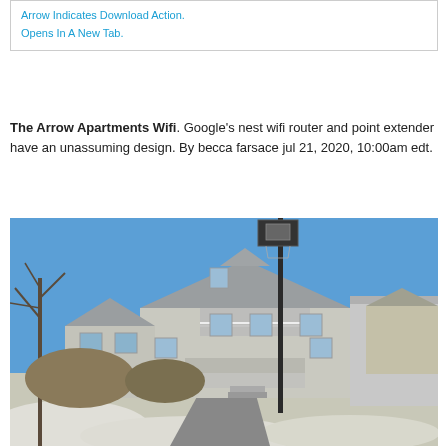Arrow Indicates Download Action.
Opens In A New Tab.
The Arrow Apartments Wifi. Google’s nest wifi router and point extender have an unassuming design. By becca farsace jul 21, 2020, 10:00am edt.
[Figure (photo): Exterior photo of a large two-story gray house with a porch, balcony, and a basketball hoop pole in the foreground. Snow is visible on the ground and the sky is clear blue.]